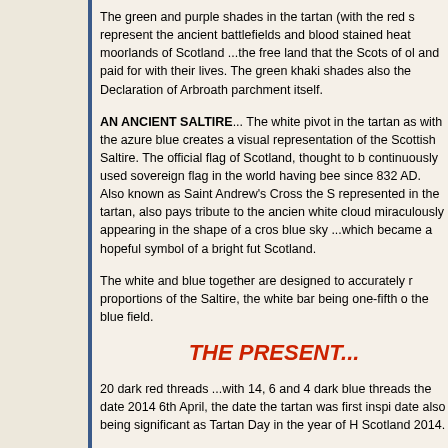The green and purple shades in the tartan (with the red shades) represent the ancient battlefields and blood stained heather moorlands of Scotland ...the free land that the Scots of old won and paid for with their lives. The green khaki shades also reflect the Declaration of Arbroath parchment itself.
AN ANCIENT SALTIRE... The white pivot in the tartan associated with the azure blue creates a visual representation of the Scottish Saltire. The official flag of Scotland, thought to be the continuously used sovereign flag in the world having been so since 832 AD. Also known as Saint Andrew's Cross the Saltire, represented in the tartan, also pays tribute to the ancient white cloud miraculously appearing in the shape of a cross in a blue sky ...which became a hopeful symbol of a bright future for Scotland.
The white and blue together are designed to accurately reflect the proportions of the Saltire, the white bar being one-fifth of the blue field.
THE PRESENT...
20 dark red threads ...with 14, 6 and 4 dark blue threads represent the date 2014 6th April, the date the tartan was first inspired ...the date also being significant as Tartan Day in the year of Homecoming Scotland 2014.